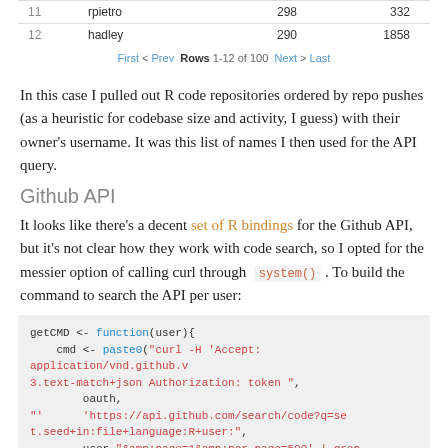| 11 | rpietro | 298 | 332 |
| 12 | hadley | 290 | 1858 |
First < Prev  Rows 1-12 of 100  Next > Last
In this case I pulled out R code repositories ordered by repo pushes (as a heuristic for codebase size and activity, I guess) with their owner's username. It was this list of names I then used for the API query.
Github API
It looks like there's a decent set of R bindings for the Github API, but it's not clear how they work with code search, so I opted for the messier option of calling curl through system() . To build the command to search the API per user:
[Figure (screenshot): Code block showing getCMD function in R that builds a curl command to query the Github API for set.seed usage per user]